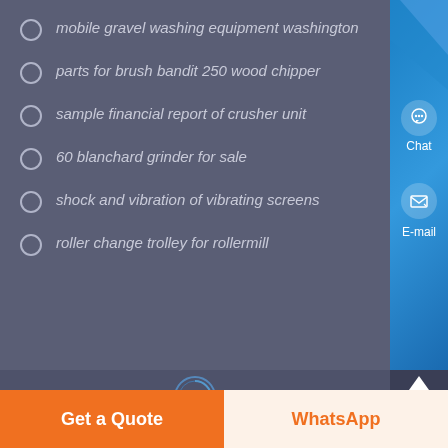mobile gravel washing equipment washington
parts for brush bandit 250 wood chipper
sample financial report of crusher unit
60 blanchard grinder for sale
shock and vibration of vibrating screens
roller change trolley for rollermill
E-Mail : price@pejaw.com
Copyright © 2021 - 2022 SKY All rights reserved Sitemap
Get a Quote
WhatsApp